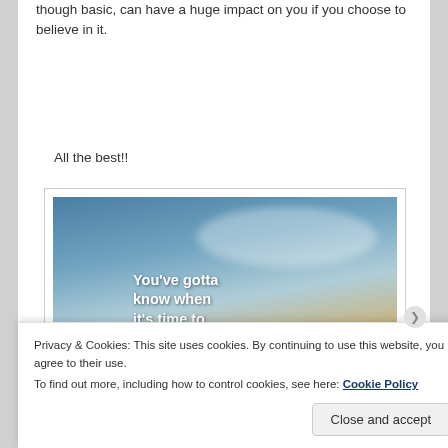though basic, can have a huge impact on you if you choose to believe in it.
All the best!!
[Figure (photo): Outdoor photo with sky and clouds background, overlaid with bold white text reading: You've gotta know when it's time to turn the page]
Privacy & Cookies: This site uses cookies. By continuing to use this website, you agree to their use.
To find out more, including how to control cookies, see here: Cookie Policy